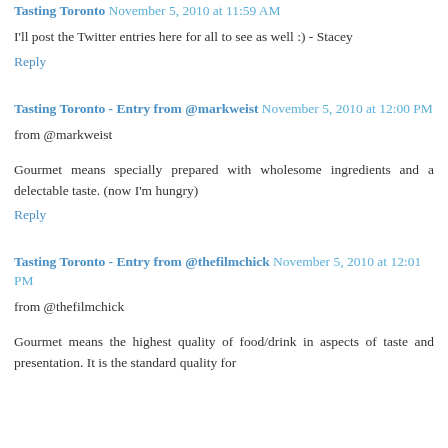Tasting Toronto November 5, 2010 at 11:59 AM
I'll post the Twitter entries here for all to see as well :) - Stacey
Reply
Tasting Toronto - Entry from @markweist November 5, 2010 at 12:00 PM
from @markweist
Gourmet means specially prepared with wholesome ingredients and a delectable taste. (now I'm hungry)
Reply
Tasting Toronto - Entry from @thefilmchick November 5, 2010 at 12:01 PM
from @thefilmchick
Gourmet means the highest quality of food/drink in aspects of taste and presentation. It is the standard quality for